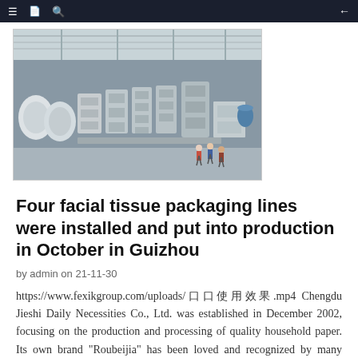≡  [icon] Q  ←
[Figure (photo): Aerial view of a large factory floor with tissue packaging machinery, large paper rolls, and workers visible from above.]
Four facial tissue packaging lines were installed and put into production in October in Guizhou
by admin on 21-11-30
https://www.fexikgroup.com/uploads/口口使用效果.mp4 Chengdu Jieshi Daily Necessities Co., Ltd. was established in December 2002, focusing on the production and processing of quality household paper. Its own brand "Roubeijia" has been loved and recognized by many consumers. Its products i...